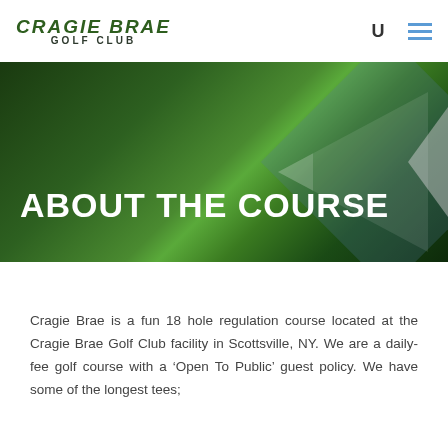CRAGIE BRAE GOLF CLUB
ABOUT THE COURSE
Cragie Brae is a fun 18 hole regulation course located at the Cragie Brae Golf Club facility in Scottsville, NY. We are a daily-fee golf course with a ‘Open To Public’ guest policy. We have some of the longest tees;